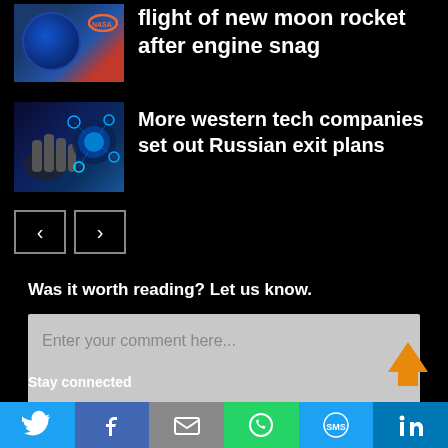[Figure (photo): NASA globe image thumbnail for moon rocket article]
flight of new moon rocket after engine snag
[Figure (photo): Tech digital interface thumbnail showing hand touching glowing icons]
More western tech companies set out Russian exit plans
[Figure (other): Navigation arrows: left and right pagination buttons]
Was it worth reading? Let us know.
Enter your comment here...
Stay connected
Twitter | Facebook | Email | WhatsApp | SMS | LinkedIn